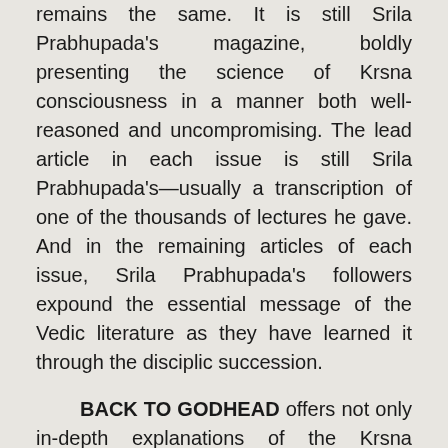remains the same. It is still Srila Prabhupada's magazine, boldly presenting the science of Krsna consciousness in a manner both well-reasoned and uncompromising. The lead article in each issue is still Srila Prabhupada's—usually a transcription of one of the thousands of lectures he gave. And in the remaining articles of each issue, Srila Prabhupada's followers expound the essential message of the Vedic literature as they have learned it through the disciplic succession.
BACK TO GODHEAD offers not only in-depth explanations of the Krsna conscious philosophy but also timely applications of that philosophy to current events. For example, in the inaugural issue, back in 1944, Srila Prabhupada explained the basic principle of spiritual science: the difference between the physical body and the self. Prabhupada pointed out